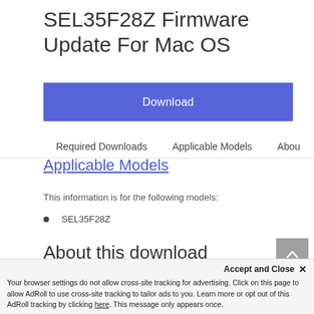SEL35F28Z Firmware Update For Mac OS
Download
Required Downloads
Applicable Models
Abou
Applicable Models
This information is for the following models:
SEL35F28Z
About this download
Accept and Close ✕
Your browser settings do not allow cross-site tracking for advertising. Click on this page to allow AdRoll to use cross-site tracking to tailor ads to you. Learn more or opt out of this AdRoll tracking by clicking here. This message only appears once.